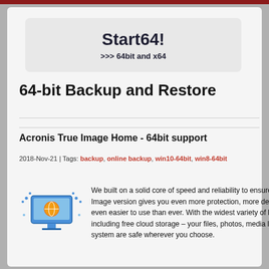Start64!
>>> 64bit and x64
64-bit Backup and Restore
Acronis True Image Home - 64bit support
2018-Nov-21 | Tags: backup, online backup, win10-64bit, win8-64bit
We built on a solid core of speed and reliability to ensure this latest True Image version gives you even more protection, more dependability, and is even easier to use than ever. With the widest variety of backup choices – including free cloud storage – your files, photos, media library, or entire system are safe wherever you choose.
[Figure (illustration): Computer with backup/cloud icon illustration]